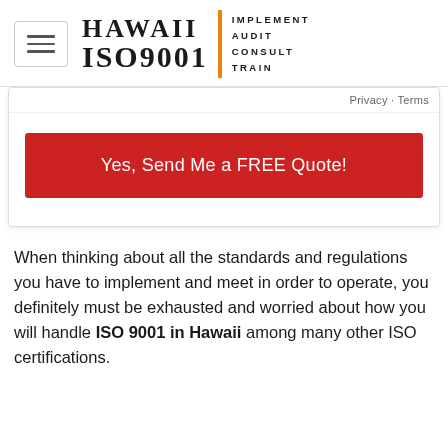[Figure (logo): Hawaii ISO 9001 logo with hamburger menu button. Logo shows 'HAWAII' and 'ISO9001' in bold serif font with an orange vertical bar divider and tagline text 'IMPLEMENT AUDIT CONSULT TRAIN' in spaced caps.]
Privacy · Terms
Yes, Send Me a FREE Quote!
When thinking about all the standards and regulations you have to implement and meet in order to operate, you definitely must be exhausted and worried about how you will handle ISO 9001 in Hawaii among many other ISO certifications.